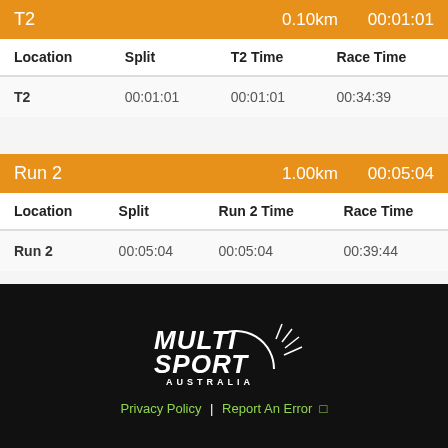| Location | Split | T2 Time | Race Time |
| --- | --- | --- | --- |
| T2 | 00:01:01 | 00:01:01 | 00:34:39 |
| Location | Split | Run 2 Time | Race Time |
| --- | --- | --- | --- |
| Run 2 | 00:05:04 | 00:05:04 | 00:39:44 |
[Figure (logo): Multi Sport Australia logo]
Privacy Policy | Report An Error